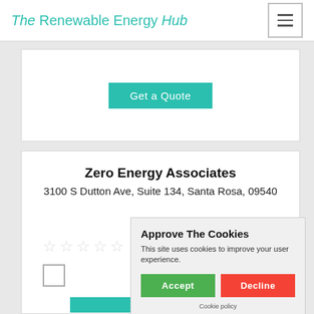The Renewable Energy Hub
Get a Quote
Zero Energy Associates
3100 S Dutton Ave, Suite 134, Santa Rosa, 09540
171.07
Approve The Cookies
This site uses cookies to improve your user experience.
Accept   Decline
Cookie policy